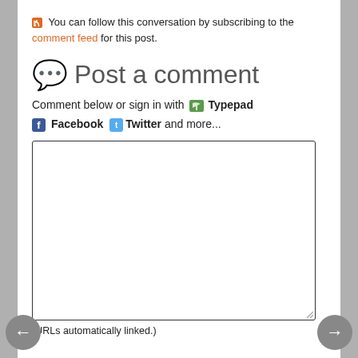You can follow this conversation by subscribing to the comment feed for this post.
Post a comment
Comment below or sign in with Typepad Facebook Twitter and more...
[Figure (screenshot): Text input box for comment entry with resize handle]
(URLs automatically linked.)